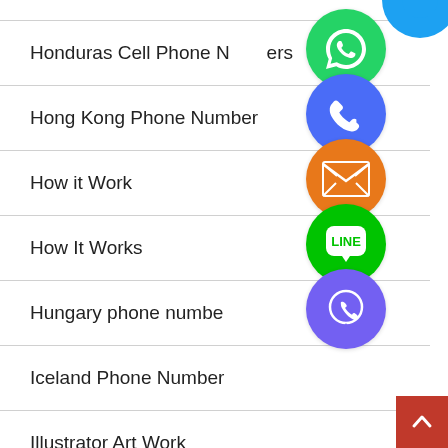Honduras Cell Phone Numbers
Hong Kong Phone Number
How it Work
How It Works
Hungary phone number
Iceland Phone Number
Illustrator Art Work
Image Masking Service
[Figure (infographic): Overlapping social media / communication app icons (WhatsApp, phone/Viber blue, email orange, LINE green, Viber purple, green close button) arranged vertically in center-right of page]